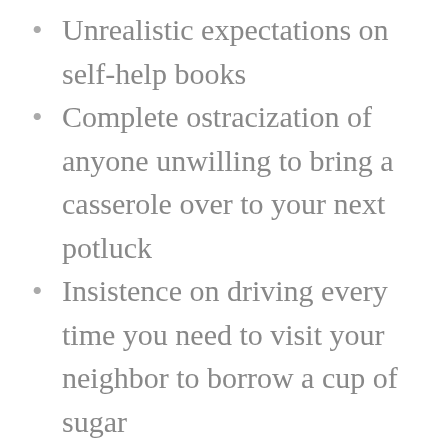Unrealistic expectations on self-help books
Complete ostracization of anyone unwilling to bring a casserole over to your next potluck
Insistence on driving every time you need to visit your neighbor to borrow a cup of sugar
Compulsion to loot any and all gas stations
Boarded windows and doors drawing the ire of your local homeowner association.
Take a break from fighting over the meager